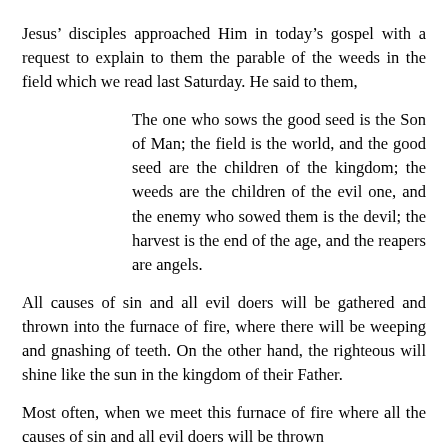Jesus’ disciples approached Him in today’s gospel with a request to explain to them the parable of the weeds in the field which we read last Saturday. He said to them,
The one who sows the good seed is the Son of Man; the field is the world, and the good seed are the children of the kingdom; the weeds are the children of the evil one, and the enemy who sowed them is the devil; the harvest is the end of the age, and the reapers are angels.
All causes of sin and all evil doers will be gathered and thrown into the furnace of fire, where there will be weeping and gnashing of teeth. On the other hand, the righteous will shine like the sun in the kingdom of their Father.
Most often, when we meet this furnace of fire where all the causes of sin and all evil doers will be thrown